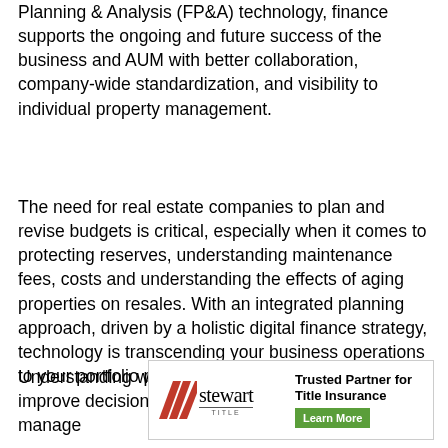Planning & Analysis (FP&A) technology, finance supports the ongoing and future success of the business and AUM with better collaboration, company-wide standardization, and visibility to individual property management.
The need for real estate companies to plan and revise budgets is critical, especially when it comes to protecting reserves, understanding maintenance fees, costs and understanding the effects of aging properties on resales. With an integrated planning approach, driven by a holistic digital finance strategy, technology is transcending your business operations to your portfolio properties.
Understanding what processes you can automate to improve decision-making, optimize costs and manage
[Figure (other): Stewart Title advertisement banner. Logo on left with diagonal stripes and 'stewart TITLE' text. Right side reads 'Trusted Partner for Title Insurance' with a green 'Learn More' button.]